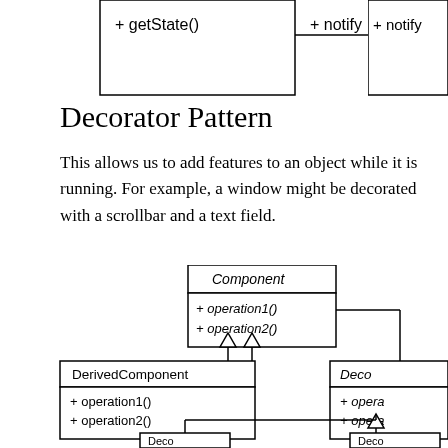[Figure (engineering-diagram): Top portion of a UML class diagram showing partial boxes with '+ getState()' and '+ notify()' methods, connected by an aggregation arrow (diamond connector).]
Decorator Pattern
This allows us to add features to an object while it is running. For example, a window might be decorated with a scrollbar and a text field.
[Figure (engineering-diagram): UML class diagram for the Decorator Pattern. Component (abstract/italic) class has + operation1() and + operation2() methods. DerivedComponent inherits from Component with open triangle arrows, showing + operation1() and + operation2(). Deco... (Decorator, partially visible) also inherits from Component, showing + opera... and + opera... Two partially visible classes Deco... appear at bottom connected by inheritance arrows from Decorator.]